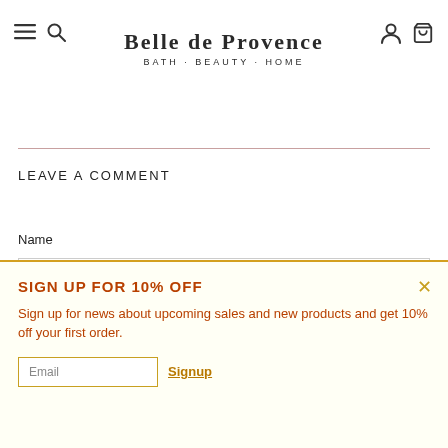Belle de Provence — Bath · Beauty · Home
LEAVE A COMMENT
Name
Your name
SIGN UP FOR 10% OFF
Sign up for news about upcoming sales and new products and get 10% off your first order.
Email
Signup